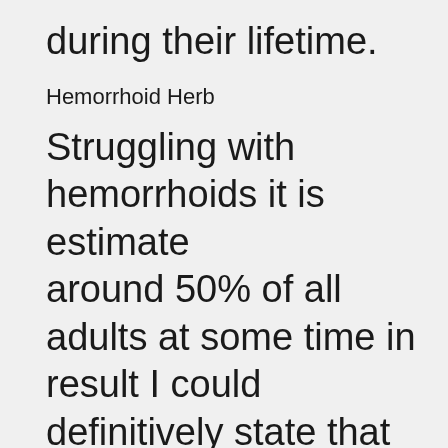during their lifetime.
Hemorrhoid Herb
Struggling with hemorrhoids it is estimated around 50% of all adults at some time in result I could definitively state that you a struggles with hemorrhoids.
Stress eating habits constipation and als causes of hemorrhoids causing you incre push while you are creating a bowel mov increase your internal pressure to push y increasing your internal pressure on the